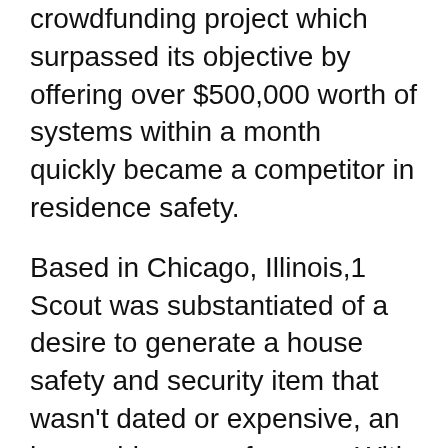crowdfunding project which surpassed its objective by offering over $500,000 worth of systems within a month  quickly became a competitor in residence safety.
Based in Chicago, Illinois,1 Scout was substantiated of a desire to generate a house safety and security item that wasn't dated or expensive, an honorable cause for sure. With a growing list of parts and also accessories to match the hub, Scout strengthens its defenses the a lot more you build it up.
Does much more suggest far better? Additional components certainly boost your residence's protection, but they additionally elevate expenses. Some excellent